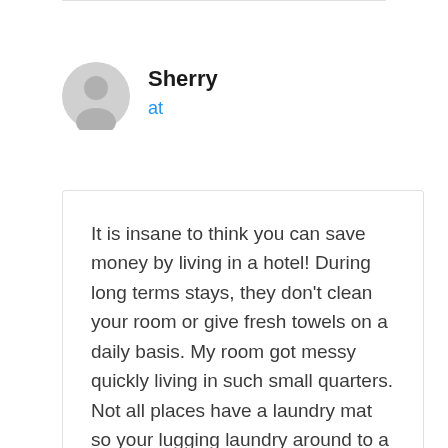Sherry
at
It is insane to think you can save money by living in a hotel! During long terms stays, they don't clean your room or give fresh towels on a daily basis. My room got messy quickly living in such small quarters. Not all places have a laundry mat so your lugging laundry around to a laundry mat. Even if your room